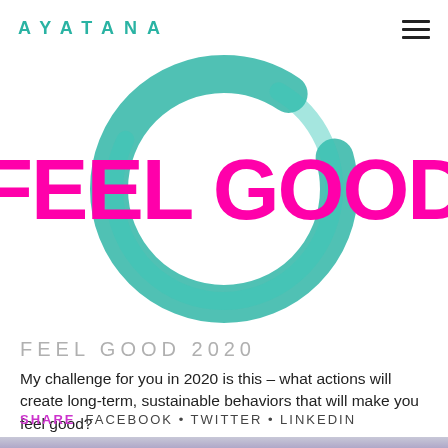AYATANA
[Figure (illustration): Teal/turquoise hand-painted circular brushstroke (enso-like ring) with FEEL GOOD text in hot pink bold font overlaid on top]
FEEL GOOD 2020
My challenge for you in 2020 is this – what actions will create long-term, sustainable behaviors that will make you feel good?
SHARE   FACEBOOK · TWITTER · LINKEDIN
[Figure (photo): Close-up photo of polished fluorite/amethyst crystals with purple and teal coloring on a white background, partially cropped at bottom]